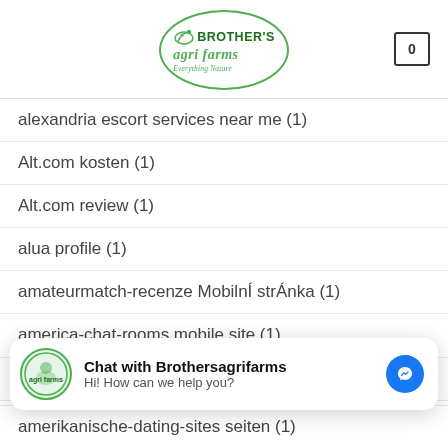Brother's Agri Farms — Everything Nature
alexandria escort services near me (1)
Alt.com kosten (1)
Alt.com review (1)
alua profile (1)
amateurmatch-recenze Mobilní stránka (1)
america-chat-rooms mobile site (1)
American Dating Sites best sites (1)
american payday loans (2)
Chat with Brothersagrifarms
Hi! How can we help you?
amerikanische-dating-sites seiten (1)